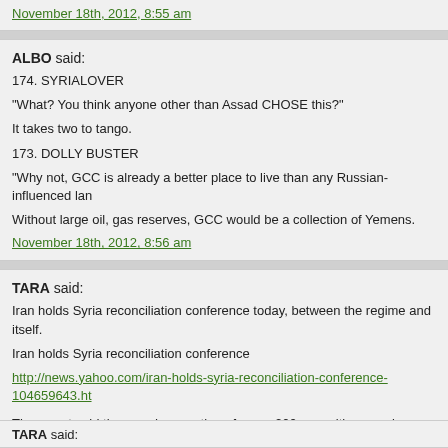November 18th, 2012, 8:55 am
ALBO said:
174. SYRIALOVER
"What? You think anyone other than Assad CHOSE this?"
It takes two to tango.
173. DOLLY BUSTER
"Why not, GCC is already a better place to live than any Russian-influenced lan
Without large oil, gas reserves, GCC would be a collection of Yemens.
November 18th, 2012, 8:56 am
TARA said:
Iran holds Syria reconciliation conference today, between the regime and itself.
Iran holds Syria reconciliation conference
http://news.yahoo.com/iran-holds-syria-reconciliation-conference-104659643.ht
The report said the one-day meeting of some 200 opposition members and Syr opposition gathering, although it did not say if any of Syria's major rebel or exile President Bashar Assad.
(...)
November 18th, 2012, 8:58 am
TARA said: